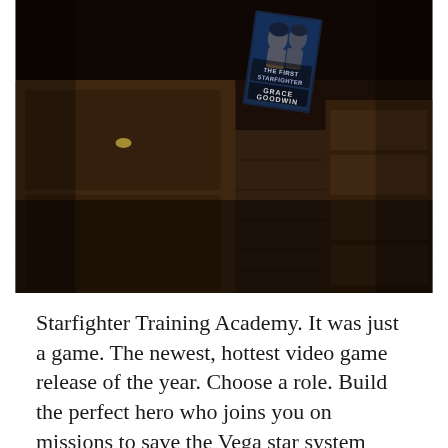[Figure (photo): A dark, dimly lit 3D rendered room with wooden furniture. A book with the cover 'The First Starfighter' by Grace Goodwin is placed on what appears to be a wooden surface. The room is dark brown in tone with various furniture pieces visible.]
Starfighter Training Academy. It was just a game. The newest, hottest video game release of the year. Choose a role. Build the perfect hero who joins you on missions to save the Vega star system from the evil Queen Raya and